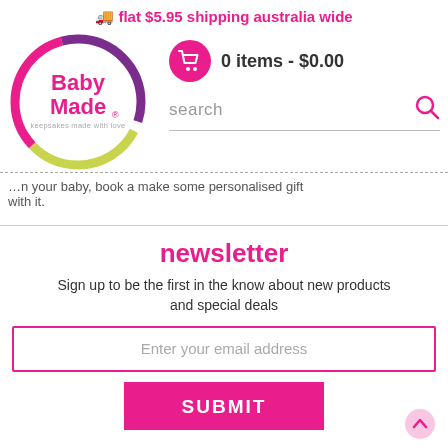🚚 flat $5.95 shipping australia wide
[Figure (logo): Baby Made logo — circular with green, pink and purple arcs, pink text 'Baby Made' and tagline 'keepsakes made with love']
0 items - $0.00
search
...with it.
newsletter
Sign up to be the first in the know about new products and special deals
Enter your email address
SUBMIT